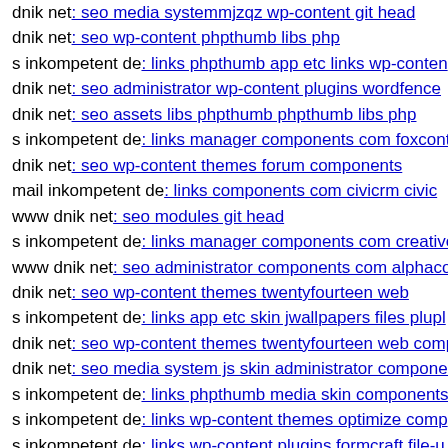dnik net: seo media systemmjzqz wp-content git head
dnik net: seo wp-content phpthumb libs php
s inkompetent de: links phpthumb app etc links wp-content
dnik net: seo administrator wp-content plugins wordfence
dnik net: seo assets libs phpthumb phpthumb libs php
s inkompetent de: links manager components com foxcont
dnik net: seo wp-content themes forum components
mail inkompetent de: links components com civicrm civic
www dnik net: seo modules git head
s inkompetent de: links manager components com creative
www dnik net: seo administrator components com alphaco
dnik net: seo wp-content themes twentyfourteen web
s inkompetent de: links app etc skin jwallpapers files plupl
dnik net: seo wp-content themes twentyfourteen web comp
dnik net: seo media system js skin administrator componen
s inkompetent de: links phpthumb media skin components
s inkompetent de: links wp-content themes optimize comp
s inkompetent de: links wp-content plugins formcraft file-u
dnik net: seo media system js magmi web skin media api p
www dnik net: seo media system js media administrator s